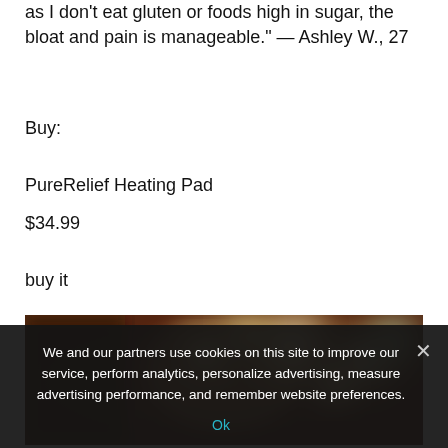as I don't eat gluten or foods high in sugar, the bloat and pain is manageable." — Ashley W., 27
Buy:
PureRelief Heating Pad
$34.99
buy it
[Figure (photo): Blurred bokeh background image with warm brown and golden tones, out-of-focus lights visible]
We and our partners use cookies on this site to improve our service, perform analytics, personalize advertising, measure advertising performance, and remember website preferences.
Ok